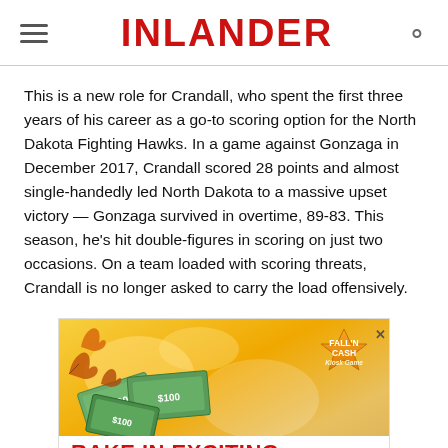INLANDER
This is a new role for Crandall, who spent the first three years of his career as a go-to scoring option for the North Dakota Fighting Hawks. In a game against Gonzaga in December 2017, Crandall scored 28 points and almost single-handedly led North Dakota to a massive upset victory — Gonzaga survived in overtime, 89-83. This season, he's hit double-figures in scoring on just two occasions. On a team loaded with scoring threats, Crandall is no longer asked to carry the load offensively.
[Figure (illustration): Advertisement for Fall'N Cash Kiosk Game showing autumn leaves, dollar bills scattered on a golden background, with text 'RAKE IN EXCITING CASH & PRIZES!' in red on a white banner at the bottom, and a maple leaf badge with 'Fall'N Cash Kiosk Game' in the upper right corner.]